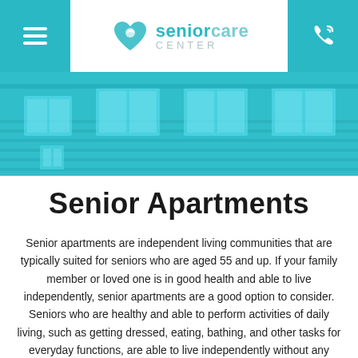Senior Care Center — navigation header with logo
[Figure (photo): Exterior photo of a senior living building with teal/cyan overlay]
Senior Apartments
Senior apartments are independent living communities that are typically suited for seniors who are aged 55 and up. If your family member or loved one is in good health and able to live independently, senior apartments are a good option to consider. Seniors who are healthy and able to perform activities of daily living, such as getting dressed, eating, bathing, and other tasks for everyday functions, are able to live independently without any personal care assistance. Most senior care homes are divided into categories that are defined by provision of personal care services or medical services. In the case of an independent senior, there is no